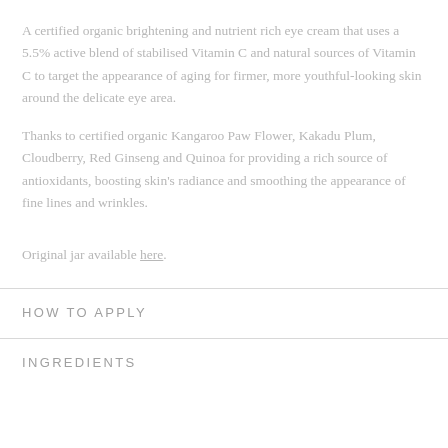A certified organic brightening and nutrient rich eye cream that uses a 5.5% active blend of stabilised Vitamin C and natural sources of Vitamin C to target the appearance of aging for firmer, more youthful-looking skin around the delicate eye area.
Thanks to certified organic Kangaroo Paw Flower, Kakadu Plum, Cloudberry, Red Ginseng and Quinoa for providing a rich source of antioxidants, boosting skin's radiance and smoothing the appearance of fine lines and wrinkles.
Original jar available here.
HOW TO APPLY
INGREDIENTS